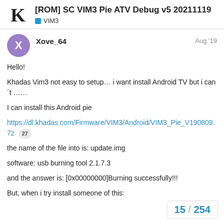[ROM] SC VIM3 Pie ATV Debug v5 20211119 — VIM3
Xove_64
Aug '19
Hello!
Khadas Vim3 not easy to setup… i want install Android TV but i can´t ……
I can install this Android pie
https://dl.khadas.com/Firmware/VIM3/Android/VIM3_Pie_V190809.7z 27
the name of the file into is: update.img
software: usb burning tool 2.1.7.3
and the answer is: [0x00000000]Burning successfully!!!
But, when i try install someone of this:
15 / 254